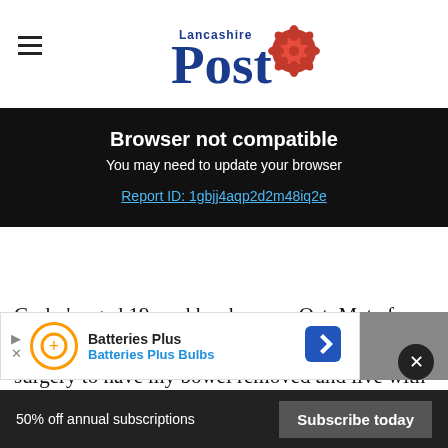Lancashire Post
Browser not compatible
You may need to update your browser
Report ID: 1gbjj4aqp2d2m48iq2e
Crohn's aged 19, and has been an OstoMate for eight years said: “It was only after I had my surgery to have my bowel removed and live with a stoma that I realised there wasn't really any support outside of the clinical setting of the hosp
[Figure (other): Batteries Plus / Batteries Plus Bulbs advertisement banner with orange circle logo and blue navigation arrow icon]
Crohn's and Colitis Support Group to bring
50% off annual subscriptions   Subscribe today